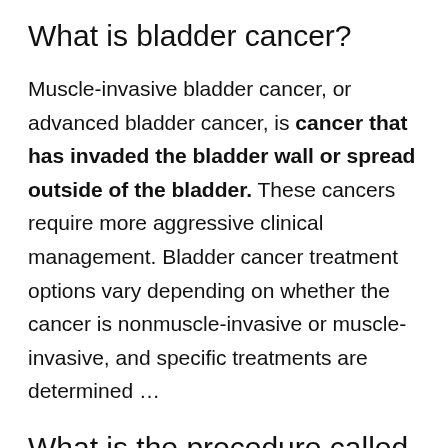What is bladder cancer?
Muscle-invasive bladder cancer, or advanced bladder cancer, is cancer that has invaded the bladder wall or spread outside of the bladder. These cancers require more aggressive clinical management. Bladder cancer treatment options vary depending on whether the cancer is nonmuscle-invasive or muscle-invasive, and specific treatments are determined …
What is the procedure called when a camera is passed through the